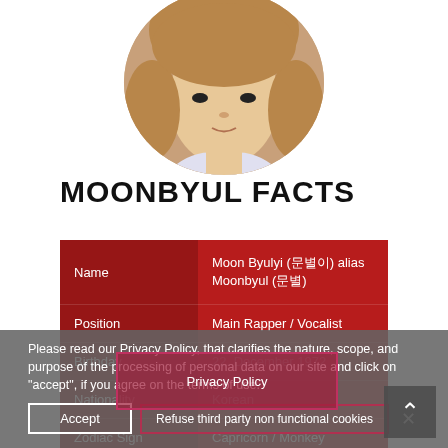[Figure (photo): Circular cropped profile photo of Moonbyul, a young woman with light brown hair]
MOONBYUL FACTS
| Field | Value |
| --- | --- |
| Name | Moon Byulyi (문별이) alias Moonbyul (문별) |
| Position | Main Rapper / Vocalist |
| Birthday | 22. December 1972 |
| Nationality | Korean |
| Zodiac Sign | Capricorn / Monkey |
Please read our Privacy Policy, that clarifies the nature, scope, and purpose of the processing of personal data on our site and click on "accept", if you agree on the terms of use.
Accept
Refuse third party non functional cookies
Privacy Policy